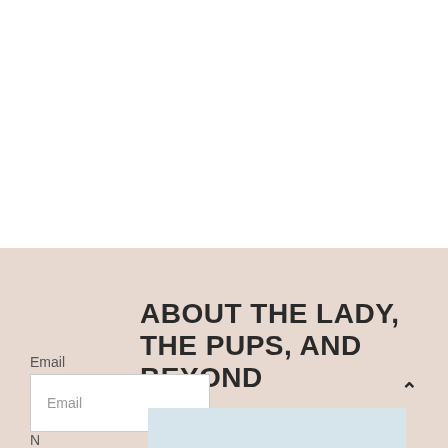ABOUT THE LADY, THE PUPS, AND BEYOND
Email
Email
N...